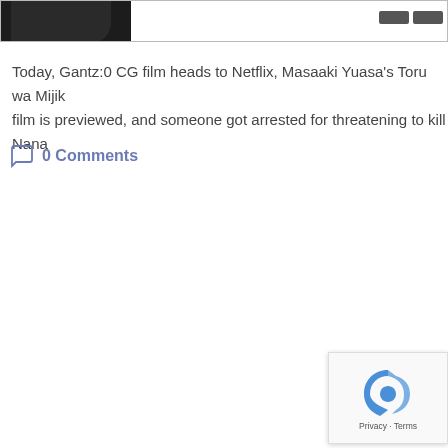[Figure (screenshot): Top portion of a webpage showing a cropped image of a dark figure (appears to be anime/CG character) on the left and two dark button/bar UI elements on the right.]
Today, Gantz:0 CG film heads to Netflix, Masaaki Yuasa's Toru wa Mijik film is previewed, and someone got arrested for threatening to kill Nana
0 Comments
[Figure (logo): reCAPTCHA logo with 'Privacy · Terms' text below]